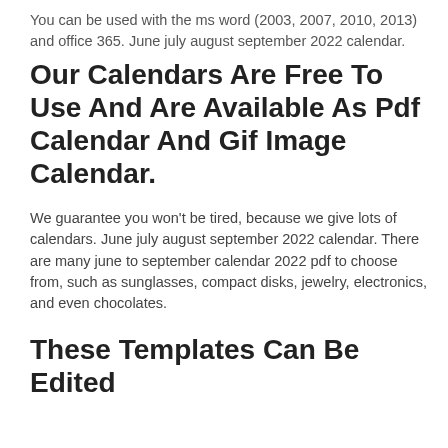You can be used with the ms word (2003, 2007, 2010, 2013) and office 365. June july august september 2022 calendar.
Our Calendars Are Free To Use And Are Available As Pdf Calendar And Gif Image Calendar.
We guarantee you won't be tired, because we give lots of calendars. June july august september 2022 calendar. There are many june to september calendar 2022 pdf to choose from, such as sunglasses, compact disks, jewelry, electronics, and even chocolates.
These Templates Can Be Edited